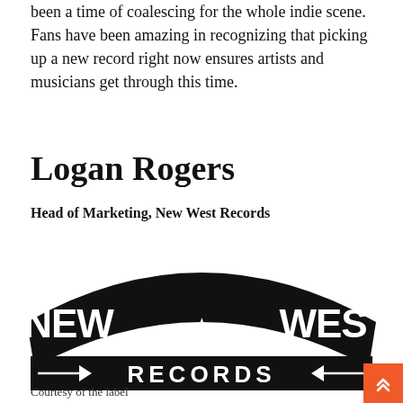been a time of coalescing for the whole indie scene. Fans have been amazing in recognizing that picking up a new record right now ensures artists and musicians get through this time.
Logan Rogers
Head of Marketing, New West Records
[Figure (logo): New West Records logo — a black banner with bold white text reading 'NEW * WEST' on the curved top banner and 'RECORDS' on a straight banner below, with decorative arrow elements.]
Courtesy of the label